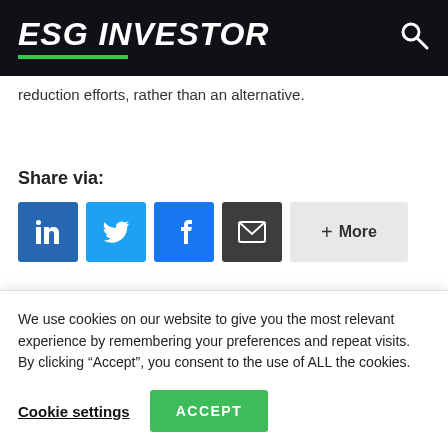ESG INVESTOR
reduction efforts, rather than an alternative.
Share via:
[Figure (other): Social share buttons: LinkedIn, Twitter, Facebook, Email, and More]
RELATED ITEMS: ASSET OWNERS, CARBON
We use cookies on our website to give you the most relevant experience by remembering your preferences and repeat visits. By clicking “Accept”, you consent to the use of ALL the cookies.
Cookie settings   ACCEPT